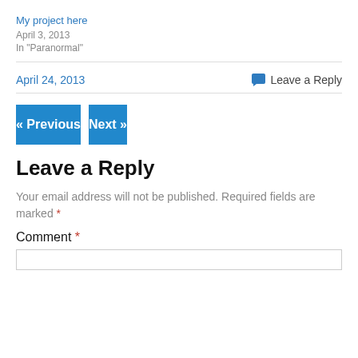My project here
April 3, 2013
In "Paranormal"
April 24, 2013
Leave a Reply
« Previous
Next »
Leave a Reply
Your email address will not be published. Required fields are marked *
Comment *